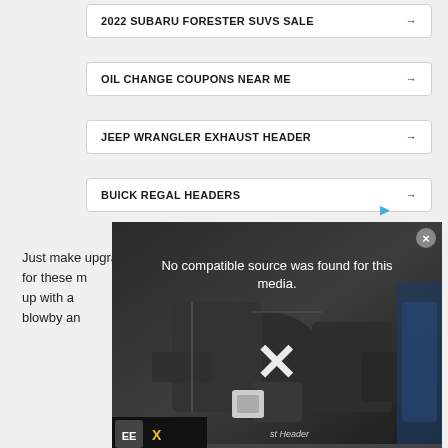2022 SUBARU FORESTER SUVS SALE →
OIL CHANGE COUPONS NEAR ME →
JEEP WRANGLER EXHAUST HEADER →
BUICK REGAL HEADERS →
Just make upgrades. for these m up with a blowby an
[Figure (screenshot): Video player overlay showing engine compartment image with 'No compatible source was found for this media.' error message and large X close icon. Close button (x) in top right corner.]